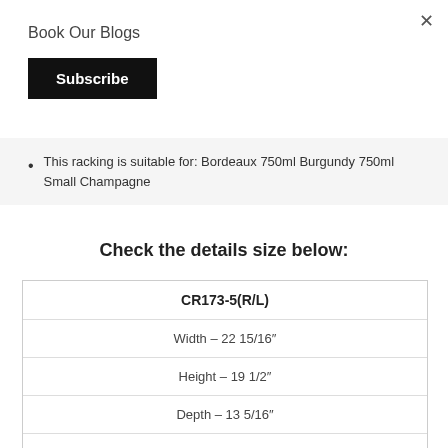×
Book Our Blogs
Subscribe
This racking is suitable for: Bordeaux 750ml Burgundy 750ml Small Champagne
Check the details size below:
| CR173-5(R/L) |
| --- |
| Width – 22 15/16″ |
| Height – 19 1/2″ |
| Depth – 13 5/16″ |
| Bottle capacity* – 15 |